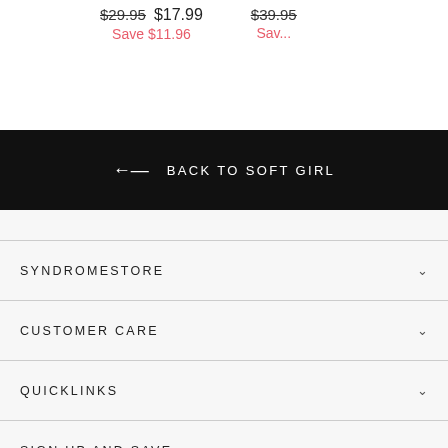$29.95  $17.99  Save $11.96  $39.95  Save...
← BACK TO SOFT GIRL
SYNDROMESTORE
CUSTOMER CARE
QUICKLINKS
SIGN UP AND SAVE